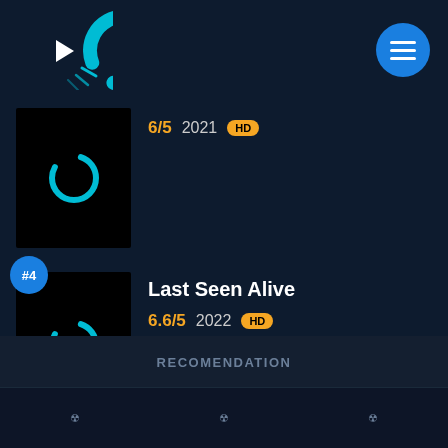[Figure (logo): Streaming app logo: cyan C-shape with play triangle and film strip lines, on dark navy background]
[Figure (illustration): Hamburger menu button: blue circle with three white horizontal lines]
6/5  2021  HD
[Figure (illustration): Movie thumbnail placeholder with cyan C loader icon on black background]
#4
Last Seen Alive
6.6/5  2022  HD
[Figure (illustration): Movie thumbnail placeholder with cyan C loader icon on black background]
RECOMENDATION